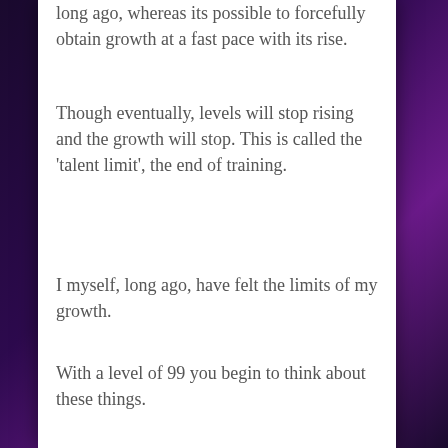long ago, whereas its possible to forcefully obtain growth at a fast pace with its rise.
Though eventually, levels will stop rising and the growth will stop. This is called the ‘talent limit’, the end of training.
I myself, long ago, have felt the limits of my growth.
With a level of 99 you begin to think about these things.